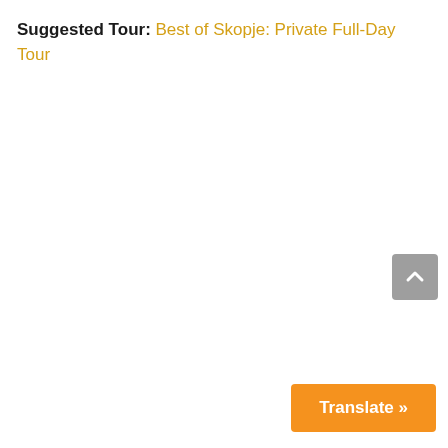Suggested Tour: Best of Skopje: Private Full-Day Tour
[Figure (other): Scroll to top button — grey rounded square with upward chevron arrow]
Translate »